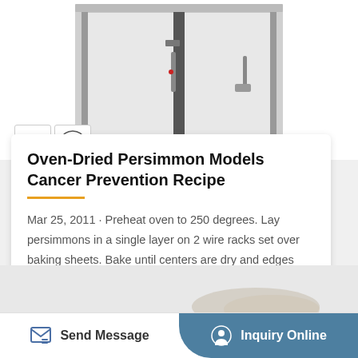[Figure (photo): Industrial oven with stainless steel doors, CE and ISO certification badges visible in lower left corner]
Oven-Dried Persimmon Models Cancer Prevention Recipe
Mar 25, 2011 · Preheat oven to 250 degrees. Lay persimmons in a single layer on 2 wire racks set over baking sheets. Bake until centers are dry and edges begin to curl, 1 1/2 to 2 hours. Let cool completely....
Send Message
Inquiry Online